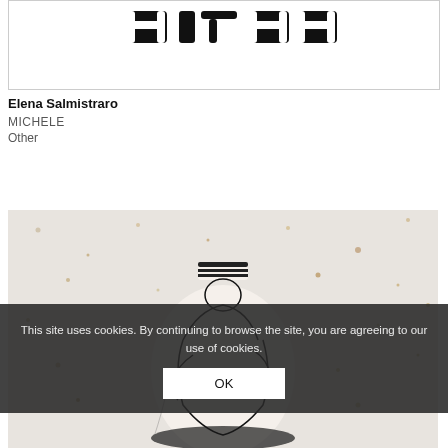[Figure (illustration): Partial top portion of a logo or decorative text mark in black and white, shown cropped at the top of the page]
Elena Salmistraro
MICHELE
Other
[Figure (photo): A white ceramic vase with black line-drawing illustrations of a figure on it, set against a speckled stone or terrazzo wall background. The vase has black and white striped banding around its neck.]
This site uses cookies. By continuing to browse the site, you are agreeing to our use of cookies.
OK